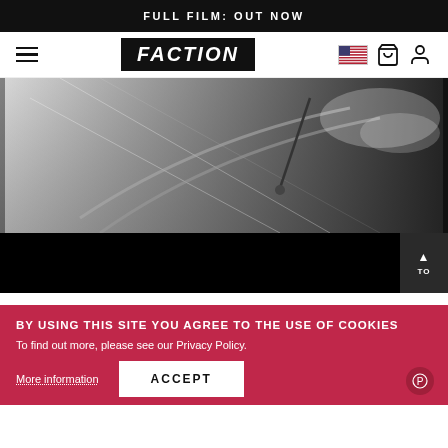FULL FILM: OUT NOW
[Figure (logo): Faction Skis navigation bar with hamburger menu, FACTION logo in black box, US flag icon, cart icon, and user account icon]
[Figure (photo): Action skiing photo showing skier on snowy mountain slope with ski poles visible, dramatic snow spray]
BY USING THIS SITE YOU AGREE TO THE USE OF COOKIES
To find out more, please see our Privacy Policy.
More information
ACCEPT